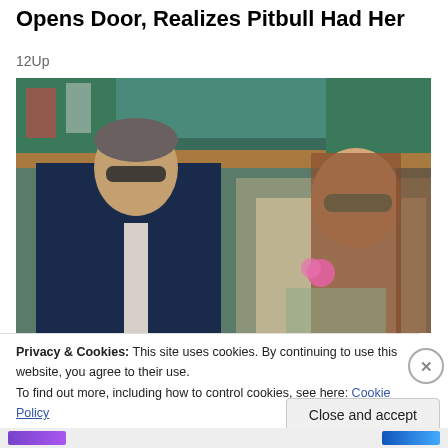Opens Door, Realizes Pitbull Had Her
12Up
[Figure (photo): Two people wearing sunglasses seated in what appears to be a stadium or outdoor venue with green seats visible in the background. A man in a dark suit with grey/white tie on the left, and a woman with long brown hair wearing a floral dress with a pink flower on the right.]
Privacy & Cookies: This site uses cookies. By continuing to use this website, you agree to their use.
To find out more, including how to control cookies, see here: Cookie Policy
Close and accept